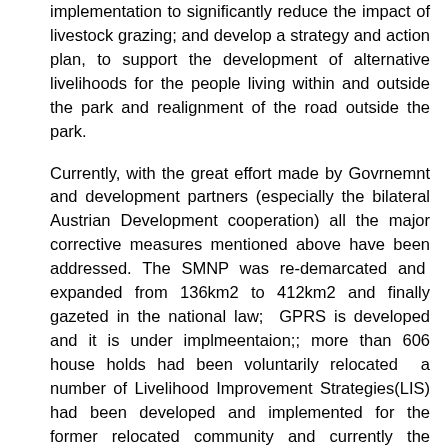implementation to significantly reduce the impact of livestock grazing; and develop a strategy and action plan, to support the development of alternative livelihoods for the people living within and outside the park and realignment of the road outside the park.
Currently, with the great effort made by Govrnemnt and development partners (especially the bilateral Austrian Development cooperation) all the major corrective measures mentioned above have been addressed. The SMNP was re-demarcated and expanded from 136km2 to 412km2 and finally gazeted in the national law; GPRS is developed and it is under implmeentaion;; more than 606 house holds had been voluntarily relocated a number of Livelihood Improvement Strategies(LIS) had been developed and implemented for the former relocated community and currently the development of LIS is underway; the realignment of the road outside the park is under construction and the population of walia ibex and other larger mammals population has shown increment. This has been confirmed by the recent (2017)